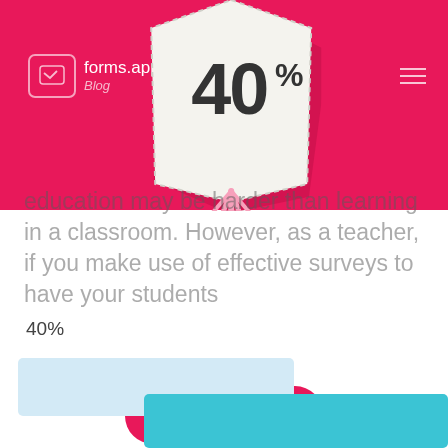[Figure (infographic): forms.app Blog logo in top-left on pink banner. Hamburger menu top-right. Large tag/badge shape in center top showing '40%' in bold dark text on cream dashed-border tag over pink background, with pink starburst rays at bottom.]
education may be harder than learning in a classroom. However, as a teacher, if you make use of effective surveys to have your students
[Figure (infographic): Pink rounded rectangle button showing the number '2' in white bold text]
40%
[Figure (bar-chart): Partial bar chart visible at bottom: a light blue wide bar and a teal/cyan bar below it, both extending to the right edge of the page]